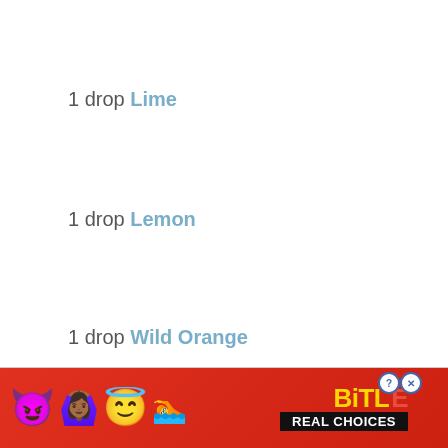1 drop Lime
1 drop Lemon
1 drop Wild Orange
[Figure (illustration): BitLife app advertisement banner with red background, emoji characters (purple devil, woman with raised hands, angel emoji, sperm emoji), BitLife logo in yellow text, and 'REAL CHOICES' text in white on black background]